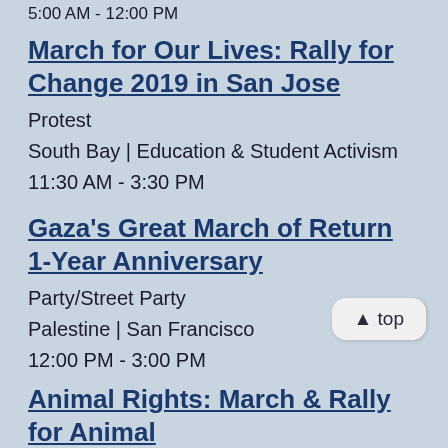5:00 AM - 12:00 PM
March for Our Lives: Rally for Change 2019 in San Jose
Protest
South Bay | Education & Student Activism
11:30 AM - 3:30 PM
Gaza's Great March of Return 1-Year Anniversary
Party/Street Party
Palestine | San Francisco
12:00 PM - 3:00 PM
Animal Rights: March & Rally for Animal